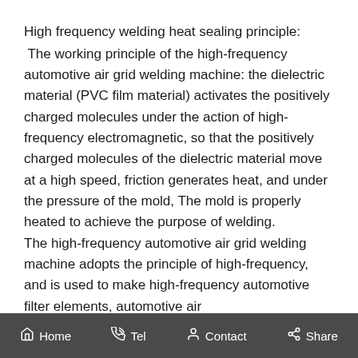High frequency welding heat sealing principle:
The working principle of the high-frequency automotive air grid welding machine: the dielectric material (PVC film material) activates the positively charged molecules under the action of high-frequency electromagnetic, so that the positively charged molecules of the dielectric material move at a high speed, friction generates heat, and under the pressure of the mold, The mold is properly heated to achieve the purpose of welding.
The high-frequency automotive air grid welding machine adopts the principle of high-frequency, and is used to make high-frequency automotive filter elements, automotive air
Home   Tel   Contact   Share